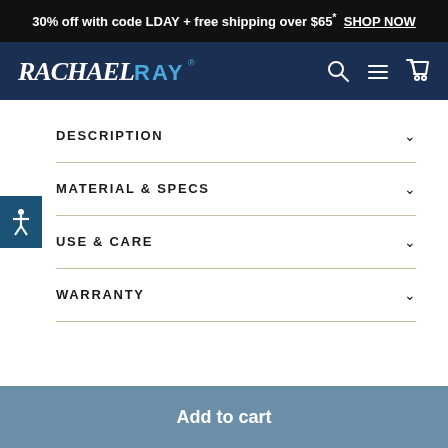30% off with code LDAY + free shipping over $65* SHOP NOW
[Figure (logo): Rachael Ray logo in white on dark navy navigation bar with search, menu, and cart icons]
DESCRIPTION
MATERIAL & SPECS
USE & CARE
WARRANTY
Add to cart